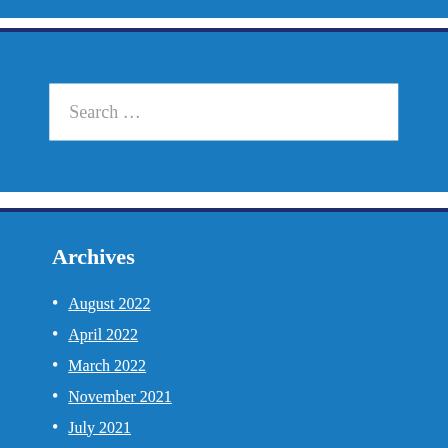Search ...
Archives
August 2022
April 2022
March 2022
November 2021
July 2021
June 2021